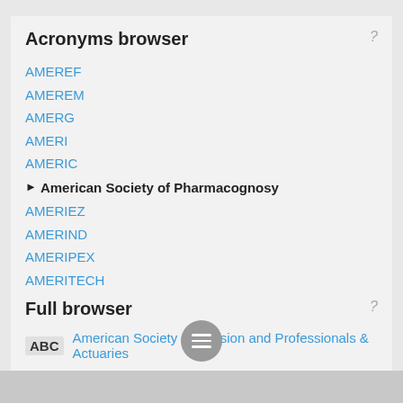Acronyms browser
AMEREF
AMEREM
AMERG
AMERI
AMERIC
▶ American Society of Pharmacognosy
AMERIEZ
AMERIND
AMERIPEX
AMERITECH
AMERS
AMERSA
Full browser
American Society of Pension and Professionals & Actuaries